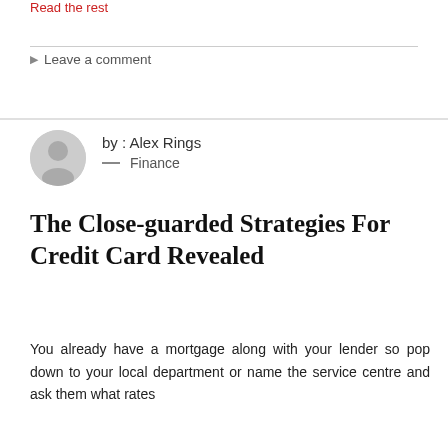Read the rest
Leave a comment
by : Alex Rings — Finance
The Close-guarded Strategies For Credit Card Revealed
You already have a mortgage along with your lender so pop down to your local department or name the service centre and ask them what rates